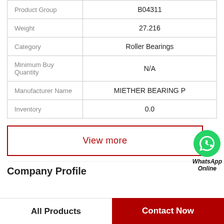| Property | Value |
| --- | --- |
| Product Group | B04311 |
| Weight | 27.216 |
| Category | Roller Bearings |
| Minimum Buy Quantity | N/A |
| Manufacturer Name | MIETHER BEARING P |
| Inventory | 0.0 |
View more
Company Profile
All Products
Contact Now